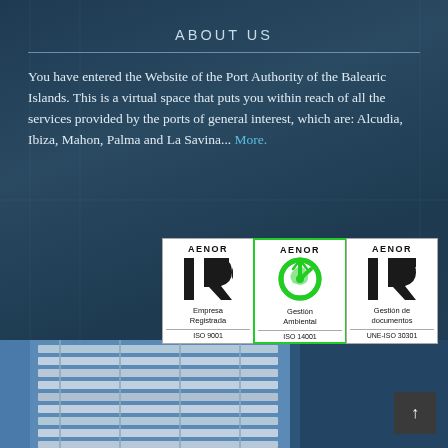ABOUT US
You have entered the Website of the Port Authority of the Balearic Islands. This is a virtual space that puts you within reach of all the services provided by the ports of general interest, which are: Alcudia, Ibiza, Mahon, Palma and La Savina... More.
[Figure (logo): Three AENOR certification badges: Empresa Registrada ISO 9001, Gestión Ambiental ISO 14001, Gestión de documentos UNE-ISO 30301]
[Figure (photo): Architectural photograph of a building with metallic louvers against blue sky, bottom portion of the page]